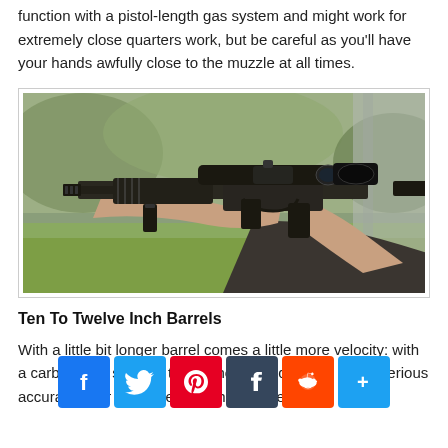function with a pistol-length gas system and might work for extremely close quarters work, but be careful as you'll have your hands awfully close to the muzzle at all times.
[Figure (photo): Person holding and aiming a short AR-style rifle with a scope mounted on top and a foregrip, photographed outdoors at a shooting range.]
Ten To Twelve Inch Barrels
With a little bit longer barrel comes a little more velocity: with a carbine gas system, these short ARs can gain some serious accuracy over the extremely short models